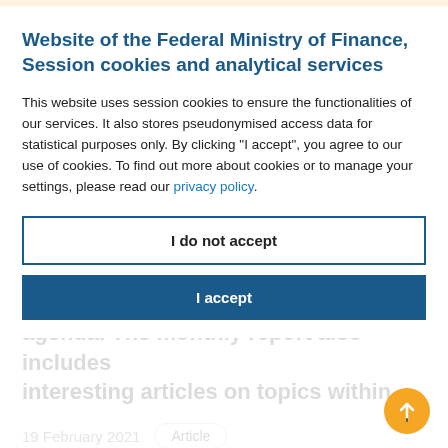Website of the Federal Ministry of Finance, Session cookies and analytical services
This website uses session cookies to ensure the functionalities of our services. It also stores pseudonymised access data for statistical purposes only. By clicking "I accept", you agree to our use of cookies. To find out more about cookies or to manage your settings, please read our privacy policy.
I do not accept
I accept
agenda. The monthly report also includes interesting articles on topics within ...
19 February 2021
Article